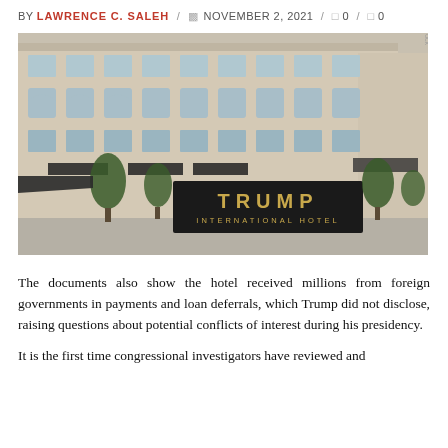BY LAWRENCE C. SALEH / NOVEMBER 2, 2021 / 0 / 0
[Figure (photo): Exterior photograph of the Trump International Hotel in Washington D.C., showing the large dark sign with gold letters reading TRUMP INTERNATIONAL HOTEL in front of the ornate beige stone building facade.]
The documents also show the hotel received millions from foreign governments in payments and loan deferrals, which Trump did not disclose, raising questions about potential conflicts of interest during his presidency.
It is the first time congressional investigators have reviewed and